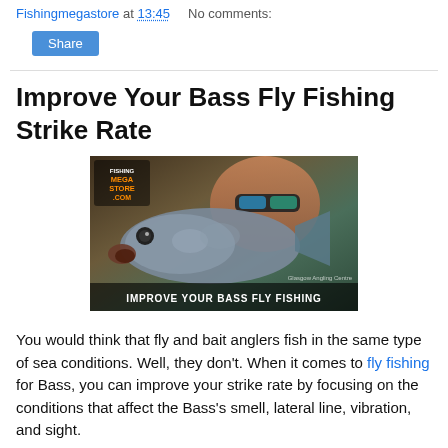Fishingmegastore at 13:45   No comments:
Improve Your Bass Fly Fishing Strike Rate
[Figure (photo): A man wearing sunglasses holds up a large bass fish close to the camera. The image has a Fishingmegastore.com logo overlay and text at the bottom reading IMPROVE YOUR BASS FLY FISHING.]
You would think that fly and bait anglers fish in the same type of sea conditions. Well, they don't. When it comes to fly fishing for Bass, you can improve your strike rate by focusing on the conditions that affect the Bass's smell, lateral line, vibration, and sight.